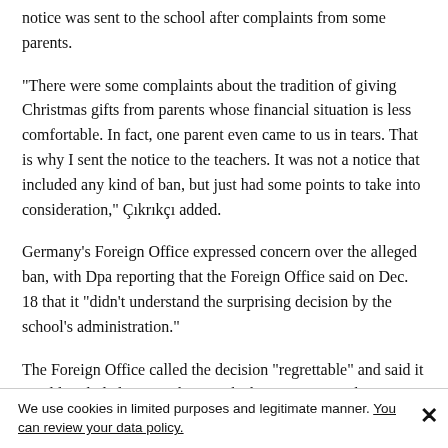notice was sent to the school after complaints from some parents.
“There were some complaints about the tradition of giving Christmas gifts from parents whose financial situation is less comfortable. In fact, one parent even came to us in tears. That is why I sent the notice to the teachers. It was not a notice that included any kind of ban, but just had some points to take into consideration,” Çıkrıkçı added.
Germany’s Foreign Office expressed concern over the alleged ban, with Dpa reporting that the Foreign Office said on Dec. 18 that it “didn’t understand the surprising decision by the school’s administration.”
The Foreign Office called the decision “regrettable” and said it would seek dialogue with its Turkish partners over the incident.
However, deputy Mustafa Şentop from Turkey’s ruling Justice and Development Party (AKP) blasted the criticism, saying “missionary activity” must not be allowed at public schools.
“Germany has objected after a warning to people who made Muslim
We use cookies in limited purposes and legitimate manner. You can review your data policy.